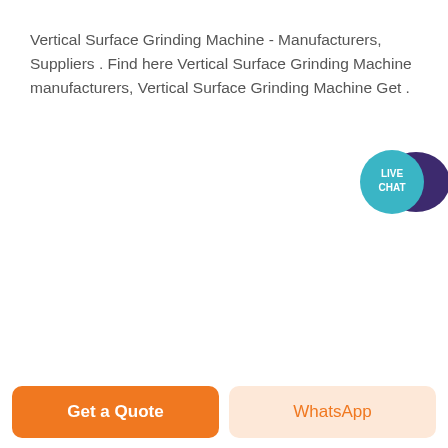Vertical Surface Grinding Machine - Manufacturers, Suppliers . Find here Vertical Surface Grinding Machine manufacturers, Vertical Surface Grinding Machine Get .
[Figure (other): Live Chat speech bubble icon with teal circle and dark purple speech bubble shape]
Get Price
[Figure (photo): Photo of a large vertical surface grinding machine in an industrial setting, showing the cylindrical grinding head with gear and mechanical components]
Get a Quote
WhatsApp